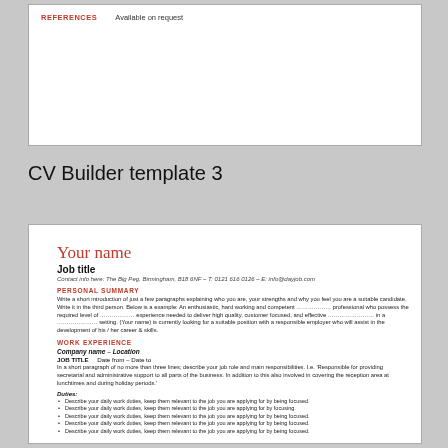REFERENCES   Available on request
CV Builder template 3
Your name
Job title
Contact info here: The Big Peg, Birmingham, B18 6NF - T: 0121 616 0126 - E: info@dayjob.com
PERSONAL SUMMARY
Write a short introduction of just a few paragraphs explaining who you are, your strengths and why you feel you are a suitable candidate. Write it in the third person. Below is a example: An enthusiastic, hard working and competent ……………… professional who possess the required level of ……………… experience needed to deliver high quality, customer focused, and effective …………………… in a ………………… setting. (Your name) is currently looking for a suitable position with a responsible employer who will assist in the development of his / her career & skills.
WORK EXPERIENCE
Company name - Location
JOB TITLE   Date from – Date to
In a short paragraph of no more than three lines; describe your job role and main responsibilities. I.e. 'Responsible for providing secretarial and administrative support to all parts of the business. In addition to this also involved in covering the reception area at lunchtimes and during holiday periods.'
Duties:
Describe your daily work duties, keep them relevant to the job you are applying for by being focused.
Describe your daily work duties, keep them relevant to the job you are applying for by focusing.
Describe your daily work duties, keep them relevant to the job you are applying for by being focused.
Describe your daily work duties, keep them relevant to the job you are applying for by being focused.
Describe your daily work duties, keep them relevant to the job you are applying for by being focused.